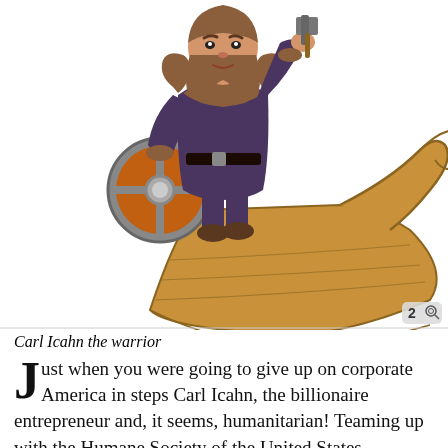[Figure (illustration): Cartoon illustration of a Viking warrior (Carl Icahn the warrior) standing on the prow of a wooden Viking longship, holding a round orange and silver shield in one hand and a weapon in the other, wearing fur-trimmed dark purple armor. A badge with the number 2 and a magnifying glass icon appears in the bottom right corner.]
Carl Icahn the warrior
Just when you were going to give up on corporate America in steps Carl Icahn, the billionaire entrepreneur and, it seems, humanitarian! Teaming up with the Humane Society of the United States,